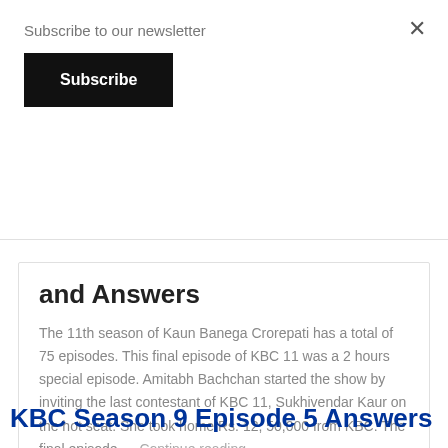Subscribe to our newsletter
Subscribe
and Answers
The 11th season of Kaun Banega Crorepati has a total of 75 episodes. This final episode of KBC 11 was a 2 hours special episode. Amitabh Bachchan started the show by inviting the last contestant of KBC 11, Sukhivendar Kaur on the hot seat. She took home Rs. 12, 50,000 from KBC. The final episode … Continue reading
Open Naukri
0
KBC Season 9 Episode 5 Answers